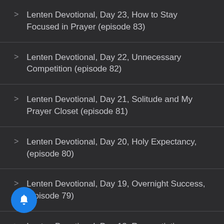Lenten Devotional, Day 23, How to Stay Focused in Prayer (episode 83)
Lenten Devotional, Day 22, Unnecessary Competition (episode 82)
Lenten Devotional, Day 21, Solitude and My Prayer Closet (episode 81)
Lenten Devotional, Day 20, Holy Expectancy, (episode 80)
Lenten Devotional, Day 19, Overnight Success, (episode 79)
Lenten Devotional, Day 18, Renegotiating Commitments (episode 78)